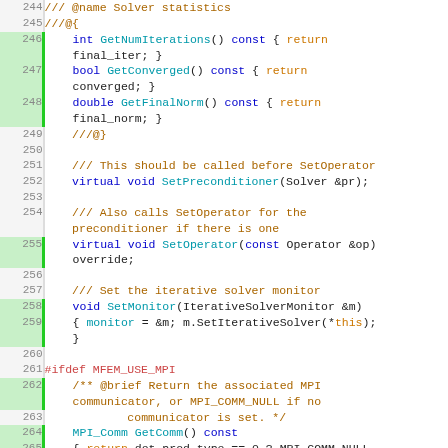[Figure (screenshot): Source code listing in a monospace font showing C++ class methods for an iterative solver (lines 244-270), with syntax highlighting: orange for comments, blue/teal for keywords and identifiers, red for preprocessor directives. Line numbers on the left with green highlight bars for certain lines.]